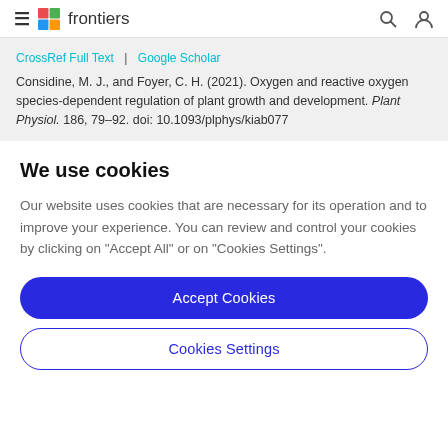frontiers
CrossRef Full Text | Google Scholar
Considine, M. J., and Foyer, C. H. (2021). Oxygen and reactive oxygen species-dependent regulation of plant growth and development. Plant Physiol. 186, 79–92. doi: 10.1093/plphys/kiab077
We use cookies
Our website uses cookies that are necessary for its operation and to improve your experience. You can review and control your cookies by clicking on "Accept All" or on "Cookies Settings".
Accept Cookies
Cookies Settings